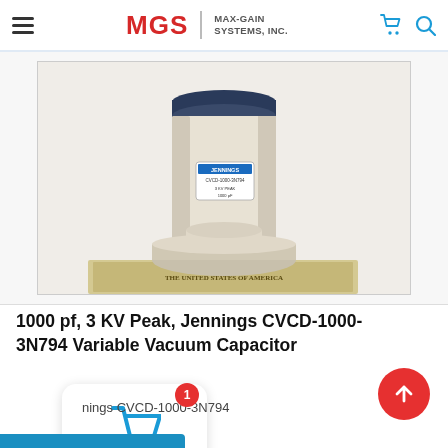MGS MAX-GAIN SYSTEMS, INC.
[Figure (photo): A cream/white cylindrical vacuum variable capacitor (Jennings CVCD-1000-3N794) with a blue label, placed on top of a US dollar bill for size reference. The component has a smooth ceramic/polymer body with metal end caps.]
1000 pf, 3 KV Peak, Jennings CVCD-1000-3N794 Variable Vacuum Capacitor
Jennings CVCD-1000-3N794